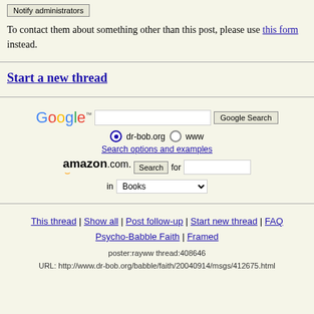Notify administrators
To contact them about something other than this post, please use this form instead.
Start a new thread
[Figure (screenshot): Google search bar with radio buttons for dr-bob.org and www, and a Search options and examples link]
[Figure (screenshot): Amazon.com search bar with Books dropdown]
This thread | Show all | Post follow-up | Start new thread | FAQ Psycho-Babble Faith | Framed
poster:rayww thread:408646 URL: http://www.dr-bob.org/babble/faith/20040914/msgs/412675.html